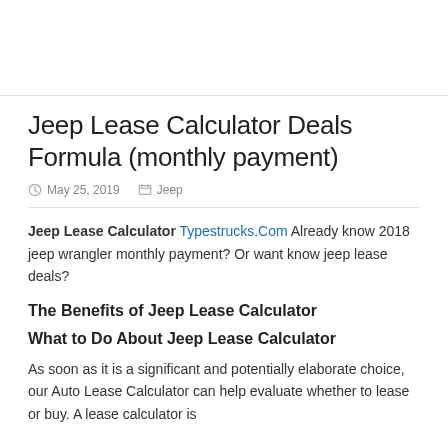Jeep Lease Calculator Deals Formula (monthly payment)
May 25, 2019   Jeep
Jeep Lease Calculator Typestrucks.Com Already know 2018 jeep wrangler monthly payment? Or want know jeep lease deals?
The Benefits of Jeep Lease Calculator
What to Do About Jeep Lease Calculator
As soon as it is a significant and potentially elaborate choice, our Auto Lease Calculator can help evaluate whether to lease or buy. A lease calculator is